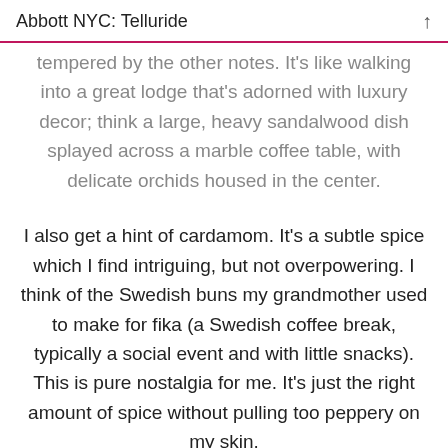Abbott NYC: Telluride
tempered by the other notes. It's like walking into a great lodge that's adorned with luxury decor; think a large, heavy sandalwood dish splayed across a marble coffee table, with delicate orchids housed in the center.
I also get a hint of cardamom. It's a subtle spice which I find intriguing, but not overpowering. I think of the Swedish buns my grandmother used to make for fika (a Swedish coffee break, typically a social event and with little snacks). This is pure nostalgia for me. It's just the right amount of spice without pulling too peppery on my skin.